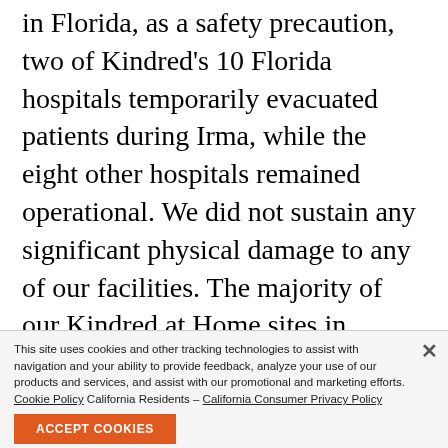in Florida, as a safety precaution, two of Kindred's 10 Florida hospitals temporarily evacuated patients during Irma, while the eight other hospitals remained operational. We did not sustain any significant physical damage to any of our facilities. The majority of our Kindred at Home sites in Houston and Florida closed temporarily due to both weather and power outages, and have re-opened. Our operations in these geographies have now largely returned to normal, and we do not expect any meaningful lingering effects going forward. In addition, we have begun the process of pursuing claims under our business interruption insurance coverage."
This site uses cookies and other tracking technologies to assist with navigation and your ability to provide feedback, analyze your use of our products and services, and assist with our promotional and marketing efforts. Cookie Policy California Residents – California Consumer Privacy Policy
demonstrated extraordinary commitment to ensuring the safety of our patients and minimizing